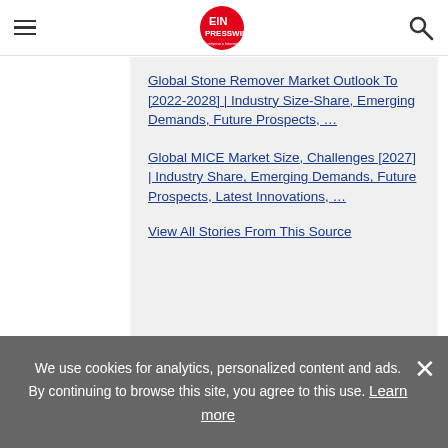EIN Presswire — Everyone's Internet News Presswire
Global Stone Remover Market Outlook To [2022-2028] | Industry Size-Share, Emerging Demands, Future Prospects, …
Global MICE Market Size, Challenges [2027] | Industry Share, Emerging Demands, Future Prospects, Latest Innovations, …
View All Stories From This Source
We use cookies for analytics, personalized content and ads. By continuing to browse this site, you agree to this use. Learn more